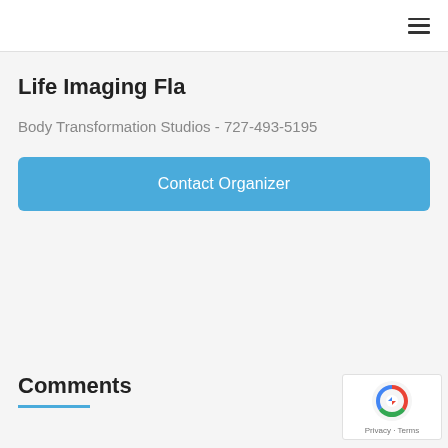Navigation menu icon
Life Imaging Fla
Body Transformation Studios - 727-493-5195
Contact Organizer
Comments
[Figure (logo): reCAPTCHA badge with Google logo and Privacy - Terms text]